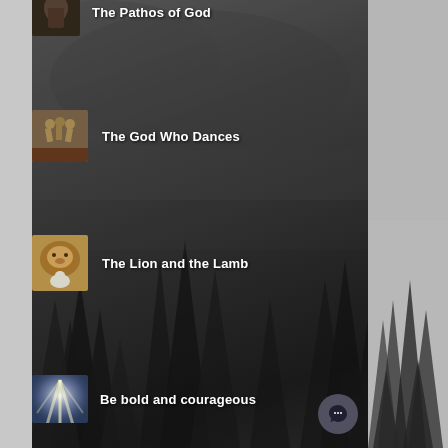The Pathos of God
The God Who Dances
The Lion and the Lamb
Be bold and courageous